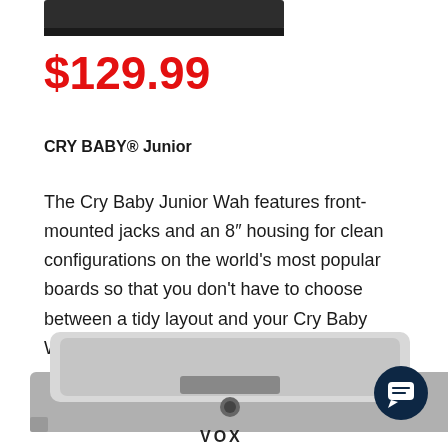[Figure (photo): Top portion of a black guitar pedal (Cry Baby) visible at the top of the page]
$129.99
CRY BABY® Junior
The Cry Baby Junior Wah features front-mounted jacks and an 8″ housing for clean configurations on the world's most popular boards so that you don't have to choose between a tidy layout and your Cry Baby Wah fix.
[Figure (photo): Bottom portion of a VOX wah guitar pedal in chrome and black, partially visible at bottom of page]
[Figure (other): Dark navy chat button with speech bubble icon in bottom right corner]